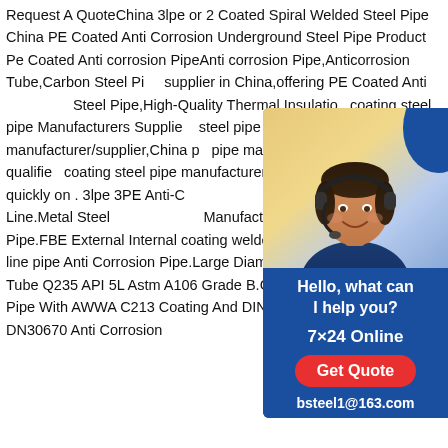Request A QuoteChina 3lpe or 2 Coated Spiral Welded Steel Pipe China PE Coated Anti Corrosion Underground Steel Pipe Product Pe Coated Anti corrosion PipeAnti corrosion Pipe,Anticorrosion Tube,Carbon Steel Pipe supplier in China,offering PE Coated Anti Steel Pipe,High-Quality Thermal Insulation coating steel pipe Manufacturers Suppliers steel pipe manufacturer/supplier,China pe pipe manufacturer factory list,find qualified coating steel pipe manufacturers,suppliers, wholesalers quickly on . 3lpe 3PE Anti-C Anti-Corrosion Coating Line.Metal Steel ManufacturerAnti Corrosion Pipe.FBE External Internal coating welded pipeline/ 3LPE Coating line pipe Anti Corrosion Pipe.Large Diameter 3pe Spiral Welded Tube Q235 API 5L Astm A106 Grade B.CSA Z245.21 3 Pe Coating Pipe With AWWA C213 Coating And DIN 30670 Coating.3PE DN30670 Anti Corrosion
[Figure (illustration): Customer service chat widget with photo of a smiling woman wearing a headset, blue background, text 'Hello, what can I help you?', '7×24 Online', red 'Get Quote' button, and email 'bsteel1@163.com']